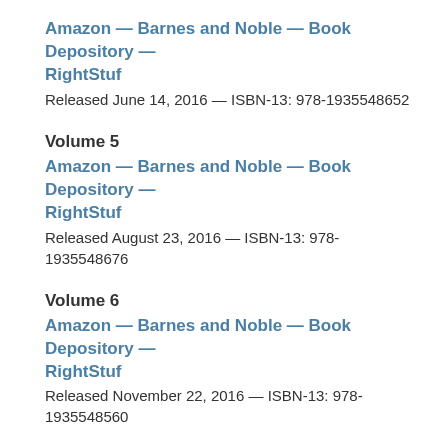Amazon — Barnes and Noble — Book Depository — RightStuf
Released June 14, 2016 — ISBN-13: 978-1935548652
Volume 5
Amazon — Barnes and Noble — Book Depository — RightStuf
Released August 23, 2016 — ISBN-13: 978-1935548676
Volume 6
Amazon — Barnes and Noble — Book Depository — RightStuf
Released November 22, 2016 — ISBN-13: 978-1935548560
Volume 7
Amazon — Barnes and Noble — Book Depository — RightStuf
Released April 18, 2017 — ISBN-13: 978-1944937089